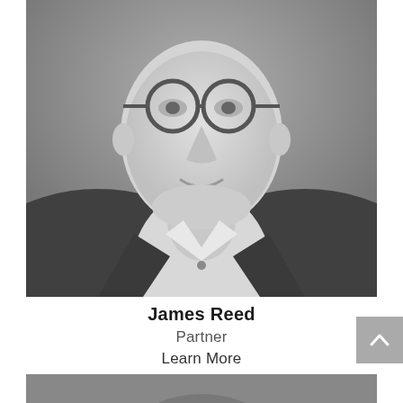[Figure (photo): Black and white professional headshot of James Reed, a middle-aged man wearing round glasses and a dark suit jacket with an open-collar shirt, cropped from chin to chest.]
James Reed
Partner
Learn More
[Figure (photo): Black and white professional headshot of another person, partially visible at bottom of page.]